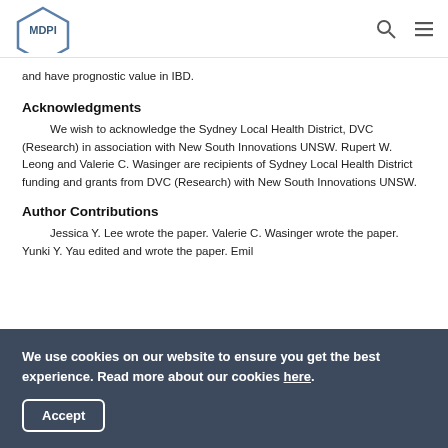MDPI
and have prognostic value in IBD.
Acknowledgments
We wish to acknowledge the Sydney Local Health District, DVC (Research) in association with New South Innovations UNSW. Rupert W. Leong and Valerie C. Wasinger are recipients of Sydney Local Health District funding and grants from DVC (Research) with New South Innovations UNSW.
Author Contributions
Jessica Y. Lee wrote the paper. Valerie C. Wasinger wrote the paper. Yunki Y. Yau edited and wrote the paper. Emil
We use cookies on our website to ensure you get the best experience. Read more about our cookies here.
Accept